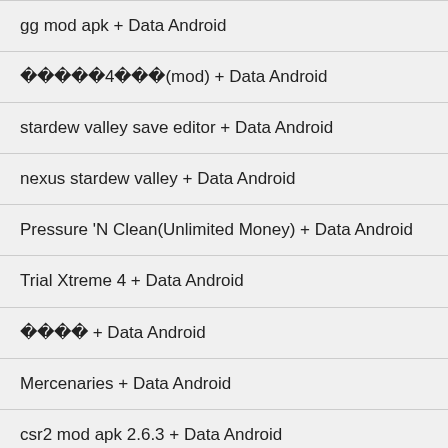gg mod apk + Data Android
모험과문명4영웅전설(mod) + Data Android
stardew valley save editor + Data Android
nexus stardew valley + Data Android
Pressure 'N Clean(Unlimited Money) + Data Android
Trial Xtreme 4 + Data Android
왕이되는자 + Data Android
Mercenaries + Data Android
csr2 mod apk 2.6.3 + Data Android